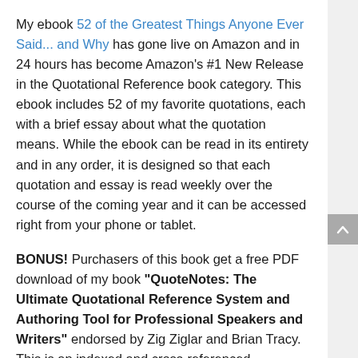My ebook 52 of the Greatest Things Anyone Ever Said... and Why has gone live on Amazon and in 24 hours has become Amazon's #1 New Release in the Quotational Reference book category. This ebook includes 52 of my favorite quotations, each with a brief essay about what the quotation means. While the ebook can be read in its entirety and in any order, it is designed so that each quotation and essay is read weekly over the course of the coming year and it can be accessed right from your phone or tablet.
BONUS! Purchasers of this book get a free PDF download of my book "QuoteNotes: The Ultimate Quotational Reference System and Authoring Tool for Professional Speakers and Writers" endorsed by Zig Ziglar and Brian Tracy. This is an indexed and cross-referenced